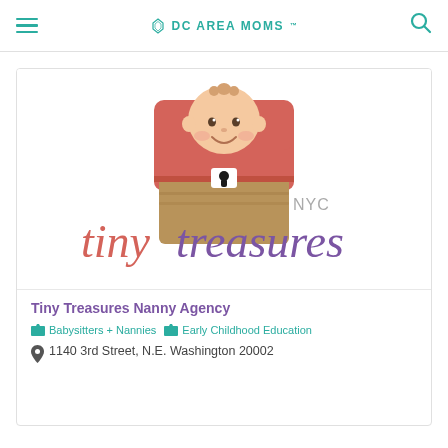DC AREA MOMS
[Figure (logo): Tiny Treasures NYC logo: a cartoon baby sitting in an open treasure chest, with text 'NYC tinytreasures' below]
Tiny Treasures Nanny Agency
Babysitters + Nannies   Early Childhood Education
1140 3rd Street, N.E. Washington 20002